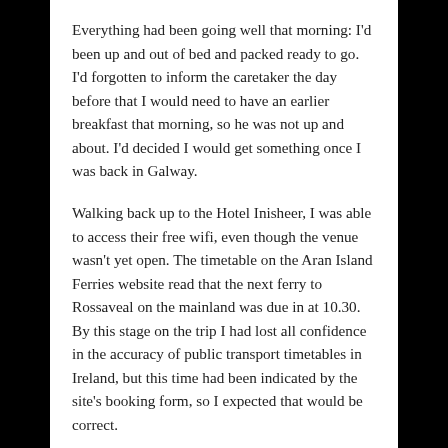Everything had been going well that morning: I'd been up and out of bed and packed ready to go. I'd forgotten to inform the caretaker the day before that I would need to have an earlier breakfast that morning, so he was not up and about. I'd decided I would get something once I was back in Galway.
Walking back up to the Hotel Inisheer, I was able to access their free wifi, even though the venue wasn't yet open. The timetable on the Aran Island Ferries website read that the next ferry to Rossaveal on the mainland was due in at 10.30. By this stage on the trip I had lost all confidence in the accuracy of public transport timetables in Ireland, but this time had been indicated by the site's booking form, so I expected that would be correct.
The hotel was not yet open and my phone battery was already plummeting. I sat outside Hotel Inisheer for